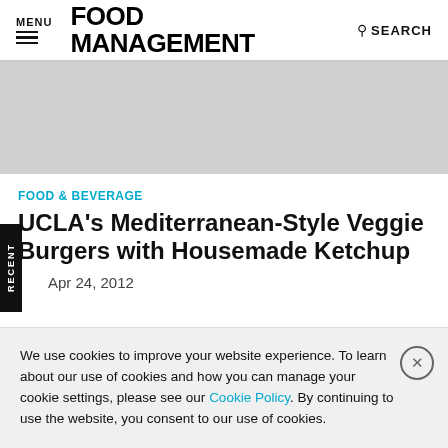MENU | FOOD MANAGEMENT | SEARCH
[Figure (other): Gray advertisement banner area]
FOOD & BEVERAGE
UCLA's Mediterranean-Style Veggie Burgers with Housemade Ketchup
Apr 24, 2012
We use cookies to improve your website experience. To learn about our use of cookies and how you can manage your cookie settings, please see our Cookie Policy. By continuing to use the website, you consent to our use of cookies.